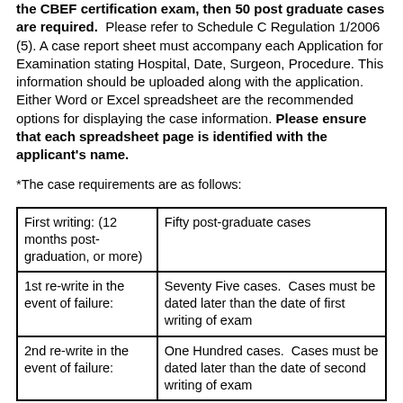the CBEF certification exam, then 50 post graduate cases are required. Please refer to Schedule C Regulation 1/2006 (5). A case report sheet must accompany each Application for Examination stating Hospital, Date, Surgeon, Procedure. This information should be uploaded along with the application. Either Word or Excel spreadsheet are the recommended options for displaying the case information. Please ensure that each spreadsheet page is identified with the applicant's name.
*The case requirements are as follows:
| First writing: (12 months post-graduation, or more) | Fifty post-graduate cases |
| 1st re-write in the event of failure: | Seventy Five cases.  Cases must be dated later than the date of first writing of exam |
| 2nd re-write in the event of failure: | One Hundred cases.  Cases must be dated later than the date of second writing of exam |